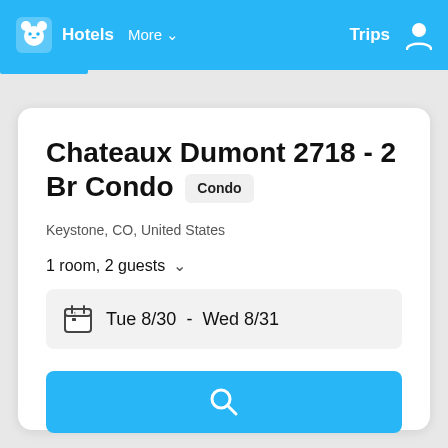Hotels  More  Trips
Chateaux Dumont 2718 - 2 Br Condo  Condo
Keystone, CO, United States
1 room, 2 guests
Tue 8/30  -  Wed 8/31
[Figure (other): Blue search button with magnifying glass icon]